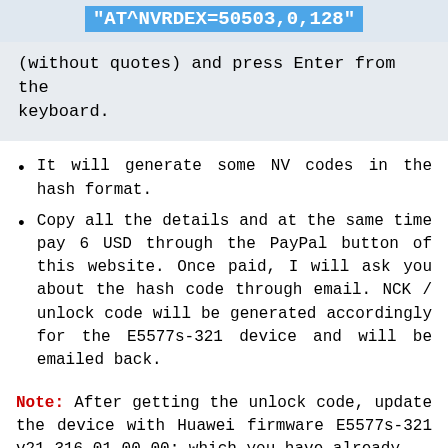"AT^NVRDEX=50503,0,128"
(without quotes) and press Enter from the keyboard.
It will generate some NV codes in the hash format.
Copy all the details and at the same time pay 6 USD through the PayPal button of this website. Once paid, I will ask you about the hash code through email. NCK / unlock code will be generated accordingly for the E5577s-321 device and will be emailed back.
Note: After getting the unlock code, update the device with Huawei firmware E5577s-321 v21.316.01.00.00; which you have already